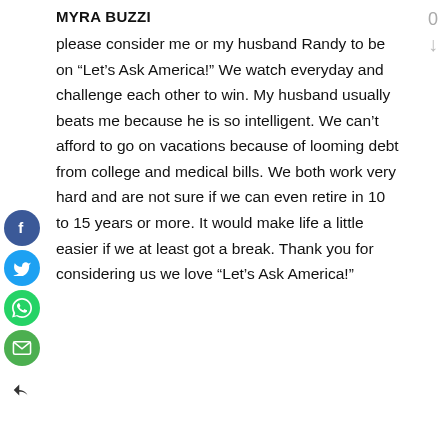MYRA BUZZI
please consider me or my husband Randy to be on “Let’s Ask America!” We watch everyday and challenge each other to win. My husband usually beats me because he is so intelligent. We can’t afford to go on vacations because of looming debt from college and medical bills. We both work very hard and are not sure if we can even retire in 10 to 15 years or more. It would make life a little easier if we at least got a break. Thank you for considering us we love “Let’s Ask America!”